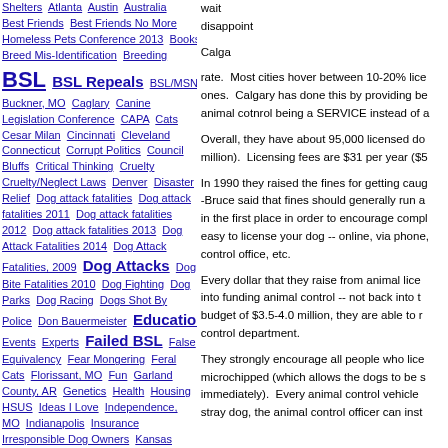Shelters Atlanta Austin Australia Best Friends Best Friends No More Homeless Pets Conference 2013 Books Breed Mis-Identification Breeding BSL BSL Repeals BSL/MSN Buckner, MO Caglary Canine Legislation Conference CAPA Cats Cesar Milan Cincinnati Cleveland Connecticut Corrupt Politics Council Bluffs Critical Thinking Cruelty Cruelty/Neglect Laws Denver Disaster Relief Dog attack fatalities Dog attack fatalities 2011 Dog attack fatalities 2012 Dog attack fatalities 2013 Dog Attack Fatalities 2014 Dog Attack Fatalities, 2009 Dog Attacks Dog Bite Fatalities 2010 Dog Fighting Dog Parks Dog Racing Dogs Shot By Police Don Bauermeister Education Events Experts Failed BSL False Equivalency Fear Mongering Feral Cats Florissant, MO Fun Garland County, AR Genetics Health Housing HSUS Ideas I Love Independence, MO Indianapolis Insurance Irresponsible Dog Owners Kansas Kansas City, KS Kansas City, MO Katrina KC Pet Project Lawsuits Leadership Length of Stay Lincoln, NE Little Rock Los Angeles Lost Pets
wait disappoint Calga rate. Most cities hover between 10-20% license ones. Calgary has done this by providing be animal cotnrol being a SERVICE instead of a Overall, they have about 95,000 licensed do million). Licensing fees are $31 per year ($5 In 1990 they raised the fines for getting caug -Bruce said that fines should generally run a in the first place in order to encourage compl easy to license your dog -- online, via phone, control office, etc. Every dollar that they raise from animal lice into funding animal control -- not back into t budget of $3.5-4.0 million, they are able to r control department. They strongly encourage all people who lice microchipped (which allows the dogs to be s immediately). Every animal control vehicle stray dog, the animal control officer can inst